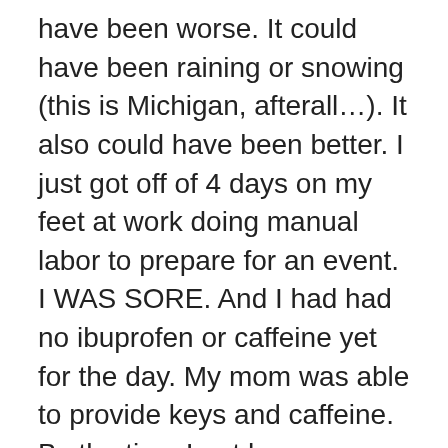have been worse. It could have been raining or snowing (this is Michigan, afterall…). It also could have been better. I just got off of 4 days on my feet at work doing manual labor to prepare for an event. I WAS SORE. And I had had no ibuprofen or caffeine yet for the day. My mom was able to provide keys and caffeine. By the time I got home, my husband had already returned.
It was so hard yesterday, to pet Parker knowing it was the last time. Knowing we would never feel his velvety brown head again, or his short hair, that was course when it was dirty and soft when it was clean. I am sure I will continue to find it stabbing me in the cups of my bras though. It was easier yesterday when he was gone. But then harder again this morning. Yesterday he was still in our lives, that stupid, miserable dog. Today will be our first full day without him in our home. I am sad that it seems empty. But